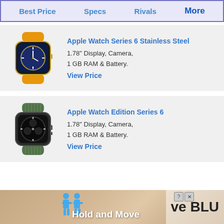Best Price  Specs  Rivals  More
[Figure (photo): Apple Watch Series 6 Stainless Steel with gold case and orange leather link bracelet]
Apple Watch Series 6 Stainless Steel
1.78" Display, Camera,
1 GB RAM & Battery.
View Price
[Figure (photo): Apple Watch Edition Series 6 with dark titanium case and green braided solo loop]
Apple Watch Edition Series 6
1.78" Display, Camera,
1 GB RAM & Battery.
View Price
[Figure (screenshot): Advertisement banner showing Hold and Move app with blue figures and text 've BLU']